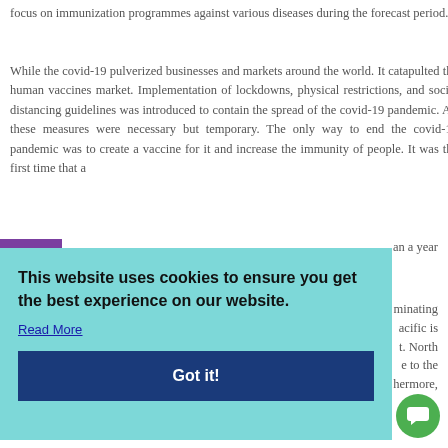focus on immunization programmes against various diseases during the forecast period.
While the covid-19 pulverized businesses and markets around the world. It catapulted the human vaccines market. Implementation of lockdowns, physical restrictions, and social distancing guidelines was introduced to contain the spread of the covid-19 pandemic. All these measures were necessary but temporary. The only way to end the covid-19 pandemic was to create a vaccine for it and increase the immunity of people. It was the first time that a [partially obscured] ...an a year
[Figure (screenshot): Cookie consent overlay on a light blue/teal background with the message 'This website uses cookies to ensure you get the best experience on our website.' with a 'Read More' link and a 'Got it!' dark blue button.]
[partially visible text] ...minating ...acific is ...t. North ...e to the ...hermore, infectious diseases are increasing considerably in countries [partially obscured]